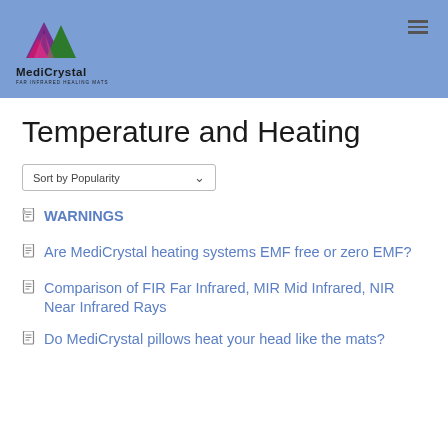MediCrystal — Far Infrared Healing Mats
Temperature and Heating
WARNINGS
Are MediCrystal heating systems EMF free or zero EMF?
Comparison of FIR Far Infrared, MIR Mid Infrared, NIR Near Infrared Rays
Do MediCrystal pillows heat your head like the mats?